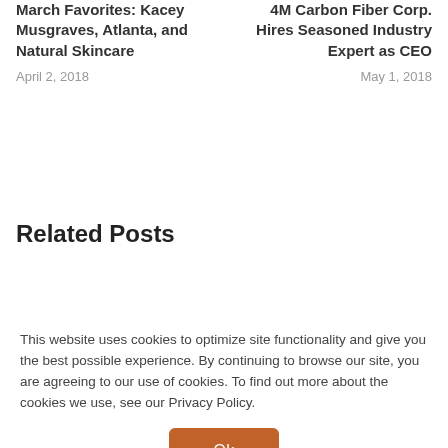March Favorites: Kacey Musgraves, Atlanta, and Natural Skincare
April 2, 2018
4M Carbon Fiber Corp. Hires Seasoned Industry Expert as CEO
May 1, 2018
Related Posts
This website uses cookies to optimize site functionality and give you the best possible experience. By continuing to browse our site, you are agreeing to our use of cookies. To find out more about the cookies we use, see our Privacy Policy.
Ok